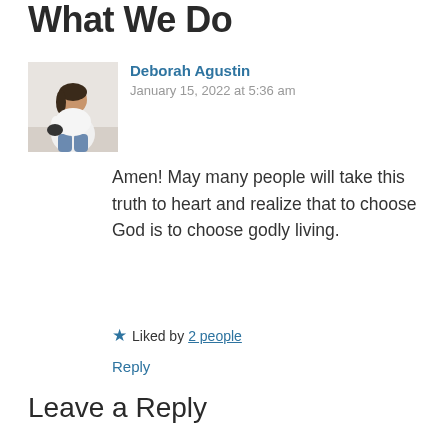What We Do
Deborah Agustin
January 15, 2022 at 5:36 am
[Figure (photo): Avatar photo of a woman sitting, wearing white top and blue jeans]
Amen! May many people will take this truth to heart and realize that to choose God is to choose godly living.
★ Liked by 2 people
Reply
Leave a Reply
Your email address will not be published. Required fields are marked *